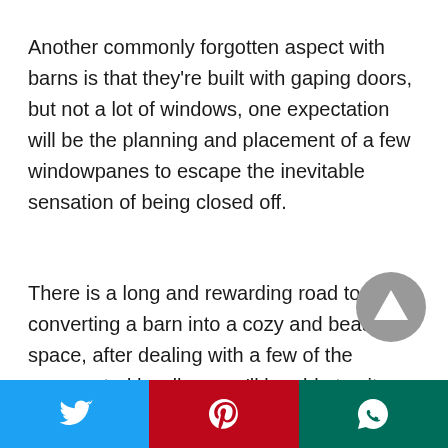Another commonly forgotten aspect with barns is that they're built with gaping doors, but not a lot of windows, one expectation will be the planning and placement of a few windowpanes to escape the inevitable sensation of being closed off.
There is a long and rewarding road to converting a barn into a cozy and beautiful space, after dealing with a few of the unexpected hurdles, you'll be able to sit back and relax in your new and improved 'barndominium', it's well worth the price of admission.
[Figure (other): Social share buttons: Twitter (blue), Pinterest (red), WhatsApp (dark teal)]